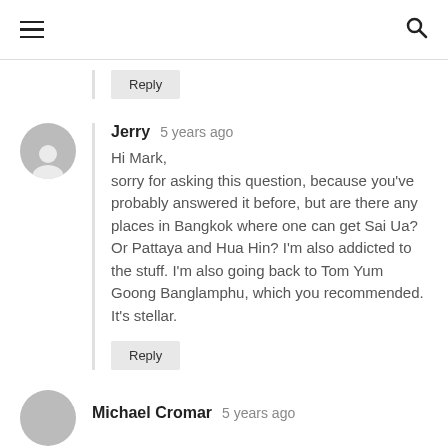Navigation bar with hamburger menu and search icon
Reply
Jerry  5 years ago
Hi Mark,
sorry for asking this question, because you've probably answered it before, but are there any places in Bangkok where one can get Sai Ua? Or Pattaya and Hua Hin? I'm also addicted to the stuff. I'm also going back to Tom Yum Goong Banglamphu, which you recommended. It's stellar.
Reply
Michael Cromar  5 years ago